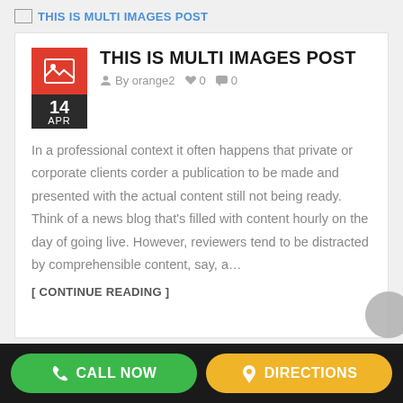THIS IS MULTI IMAGES POST
[Figure (screenshot): Blog post card with red image icon, date 14 APR, post title THIS IS MULTI IMAGES POST, author by orange2, likes 0, comments 0, and body text excerpt]
In a professional context it often happens that private or corporate clients corder a publication to be made and presented with the actual content still not being ready. Think of a news blog that’s filled with content hourly on the day of going live. However, reviewers tend to be distracted by comprehensible content, say, a…
[ CONTINUE READING ]
CALL NOW   DIRECTIONS